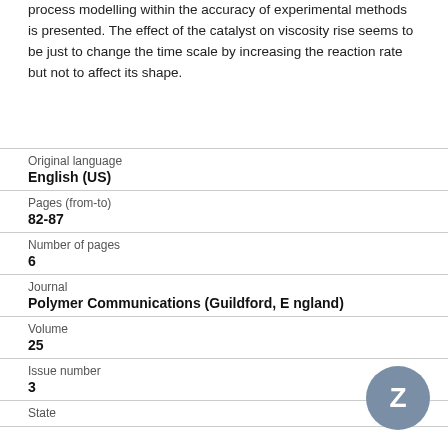process modelling within the accuracy of experimental methods is presented. The effect of the catalyst on viscosity rise seems to be just to change the time scale by increasing the reaction rate but not to affect its shape.
| Field | Value |
| --- | --- |
| Original language | English (US) |
| Pages (from-to) | 82-87 |
| Number of pages | 6 |
| Journal | Polymer Communications (Guildford, England) |
| Volume | 25 |
| Issue number | 3 |
| State |  |